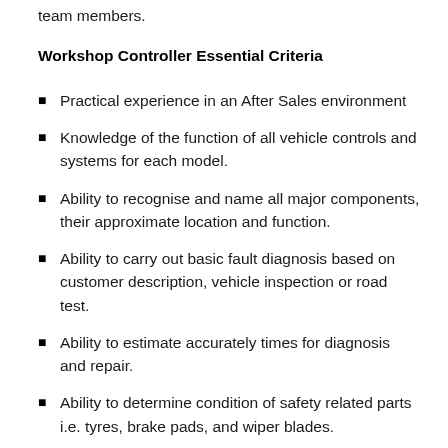team members.
Workshop Controller Essential Criteria
Practical experience in an After Sales environment
Knowledge of the function of all vehicle controls and systems for each model.
Ability to recognise and name all major components, their approximate location and function.
Ability to carry out basic fault diagnosis based on customer description, vehicle inspection or road test.
Ability to estimate accurately times for diagnosis and repair.
Ability to determine condition of safety related parts i.e. tyres, brake pads, and wiper blades.